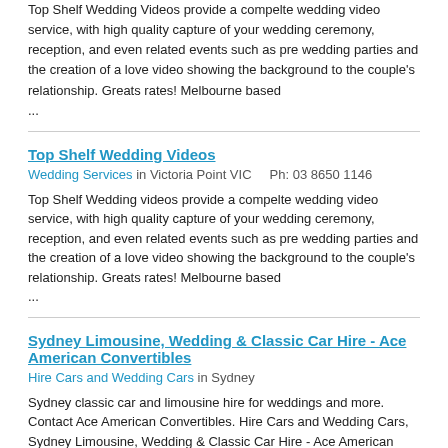Top Shelf Wedding Videos provide a compelte wedding video service, with high quality capture of your wedding ceremony, reception, and even related events such as pre wedding parties and the creation of a love video showing the background to the couple's relationship. Greats rates! Melbourne based ...
Top Shelf Wedding Videos
Wedding Services in Victoria Point VIC    Ph: 03 8650 1146
Top Shelf Wedding videos provide a compelte wedding video service, with high quality capture of your wedding ceremony, reception, and even related events such as pre wedding parties and the creation of a love video showing the background to the couple's relationship. Greats rates! Melbourne based ...
Sydney Limousine, Wedding & Classic Car Hire - Ace American Convertibles
Hire Cars and Wedding Cars in Sydney
Sydney classic car and limousine hire for weddings and more. Contact Ace American Convertibles. Hire Cars and Wedding Cars, Sydney Limousine, Wedding & Classic Car Hire - Ace American Convertibles, Sydney ...
Livetunes
Live Bands in Kew VIC
Live Bands, Livetunes, Kew, VIC ...